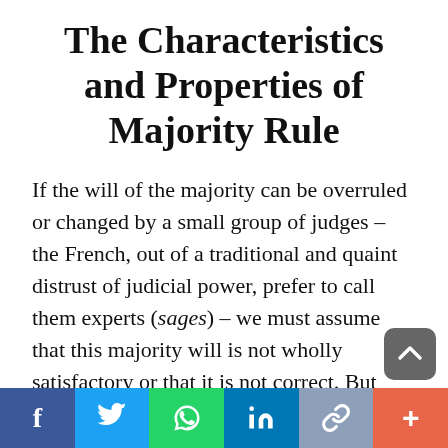The Characteristics and Properties of Majority Rule
If the will of the majority can be overruled or changed by a small group of judges – the French, out of a traditional and quaint distrust of judicial power, prefer to call them experts (sages) – we must assume that this majority will is not wholly satisfactory or that it is not correct. But who has the authority…